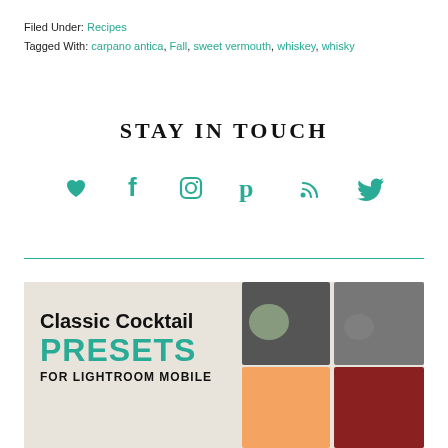Filed Under: Recipes
Tagged With: carpano antica, Fall, sweet vermouth, whiskey, whisky
STAY IN TOUCH
[Figure (infographic): Social media icons row: heart, facebook, instagram, pinterest, rss, twitter — all in teal/green color]
[Figure (photo): Classic Cocktail PRESETS FOR LIGHTROOM MOBILE promotional banner with cocktail photos collage on right side]